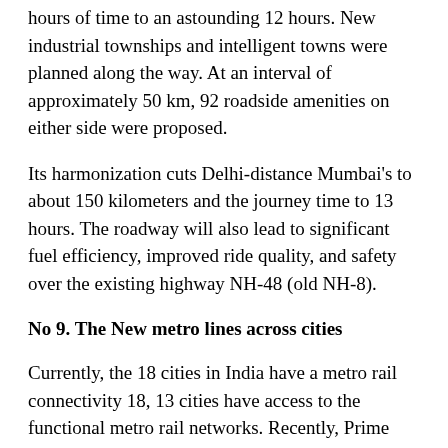hours of time to an astounding 12 hours. New industrial townships and intelligent towns were planned along the way. At an interval of approximately 50 km, 92 roadside amenities on either side were proposed.
Its harmonization cuts Delhi-distance Mumbai's to about 150 kilometers and the journey time to 13 hours. The roadway will also lead to significant fuel efficiency, improved ride quality, and safety over the existing highway NH-48 (old NH-8).
No 9. The New metro lines across cities
Currently, the 18 cities in India have a metro rail connectivity 18, 13 cities have access to the functional metro rail networks. Recently, Prime Minister Narendra Modi announced that by the year 2025, 25 Indian cities will have metro services available.